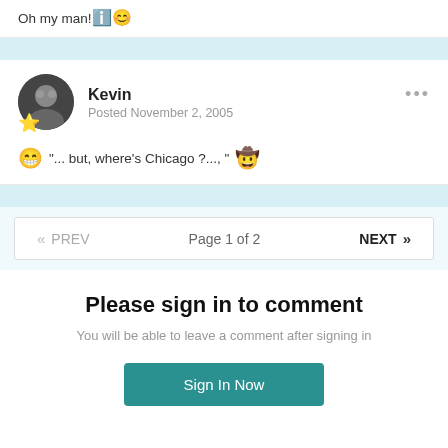Oh my man! 🔵 🙂
Kevin
Posted November 2, 2005
"... but, where's Chicago ?..., "
« PREV   Page 1 of 2   NEXT »
Please sign in to comment
You will be able to leave a comment after signing in
Sign In Now